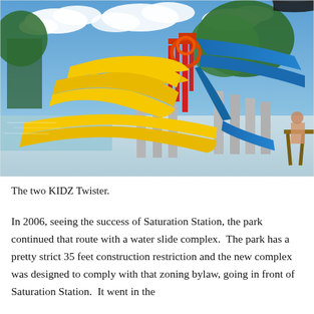[Figure (photo): Photograph of a water park showing two yellow KIDZ Twister water slides spiraling downward, with blue water slides and colorful play structures in the background, set against a partly cloudy sky. People and wooden picnic furniture visible at right edge.]
The two KIDZ Twister.
In 2006, seeing the success of Saturation Station, the park continued that route with a water slide complex.  The park has a pretty strict 35 feet construction restriction and the new complex was designed to comply with that zoning bylaw, going in front of Saturation Station.  It went in the